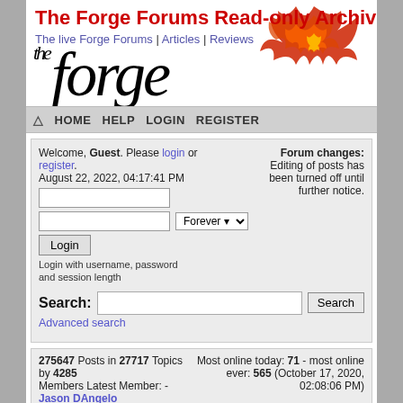The Forge Forums Read-only Archives
The live Forge Forums | Articles | Reviews
[Figure (logo): The Forge logo with stylized italic text and flame graphic]
HOME  HELP  LOGIN  REGISTER
Welcome, Guest. Please login or register. August 22, 2022, 04:17:41 PM
Forum changes: Editing of posts has been turned off until further notice.
Login with username, password and session length
Search:
Advanced search
275647 Posts in 27717 Topics by 4285 Members Latest Member: - Jason DAngelo
Most online today: 71 - most online ever: 565 (October 17, 2020, 02:08:06 PM)
The Forge Archives
General Forge Forums
Actual Play